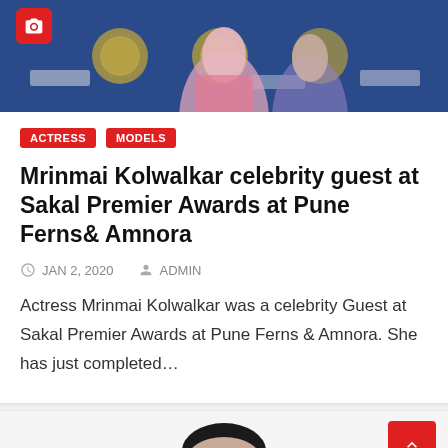[Figure (photo): Top portion of an image showing a woman at an awards event with blue patterned backdrop and logos, camera icon overlay top-left]
ACTRESS
MODELS
Mrinmai Kolwalkar celebrity guest at Sakal Premier Awards at Pune Ferns& Amnora
JAN 2, 2020   ADMIN
Actress Mrinmai Kolwalkar was a celebrity Guest at Sakal Premier Awards at Pune Ferns & Amnora. She has just completed…
[Figure (photo): Partial view of a second article card showing the top of a person's head/face]